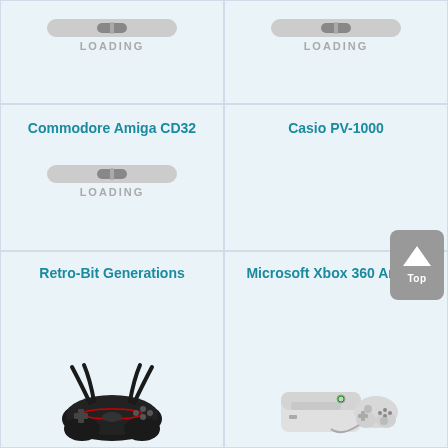[Figure (screenshot): Loading bar with progress indicator, top-left cell]
LOADING
[Figure (screenshot): Loading bar with progress indicator, top-right cell]
LOADING
Commodore Amiga CD32
[Figure (screenshot): Loading bar with progress indicator, middle-left cell]
LOADING
Casio PV-1000
Retro-Bit Generations
[Figure (photo): Retro-Bit Generations gamepad controller, black with red accents]
Microsoft Xbox 360 Arcade
[Figure (photo): Microsoft Xbox 360 Arcade console with white controller]